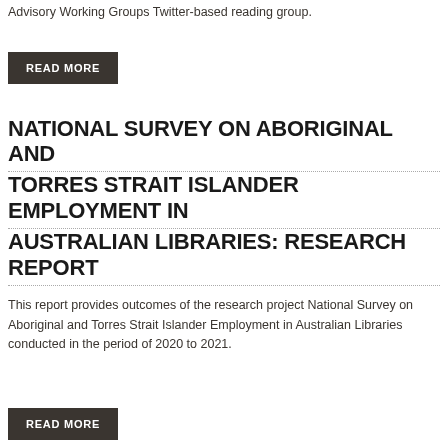Advisory Working Groups Twitter-based reading group.
READ MORE
NATIONAL SURVEY ON ABORIGINAL AND TORRES STRAIT ISLANDER EMPLOYMENT IN AUSTRALIAN LIBRARIES: RESEARCH REPORT
This report provides outcomes of the research project National Survey on Aboriginal and Torres Strait Islander Employment in Australian Libraries conducted in the period of 2020 to 2021.
READ MORE
ALIA LIS EDUCATION, SKILLS AND